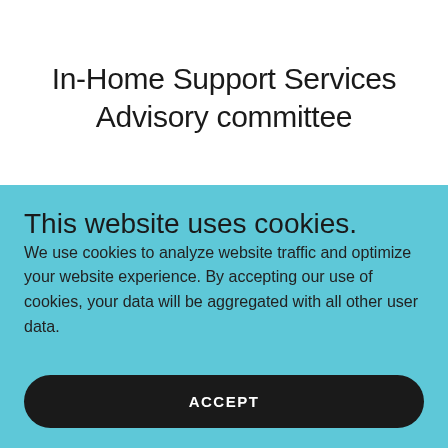In-Home Support Services Advisory committee
This website uses cookies.
We use cookies to analyze website traffic and optimize your website experience. By accepting our use of cookies, your data will be aggregated with all other user data.
ACCEPT